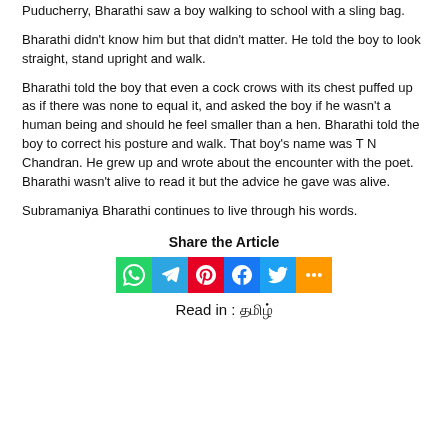Puducherry, Bharathi saw a boy walking to school with a sling bag.
Bharathi didn't know him but that didn't matter. He told the boy to look straight, stand upright and walk.
Bharathi told the boy that even a cock crows with its chest puffed up as if there was none to equal it, and asked the boy if he wasn't a human being and should he feel smaller than a hen. Bharathi told the boy to correct his posture and walk. That boy's name was T N Chandran. He grew up and wrote about the encounter with the poet. Bharathi wasn't alive to read it but the advice he gave was alive.
Subramaniya Bharathi continues to live through his words.
Share the Article
[Figure (infographic): Row of six social media share buttons: WhatsApp (green), Telegram (blue), Pinterest (red), Facebook (dark blue), Twitter (light blue), More/share (orange)]
Read in : தமிழ்